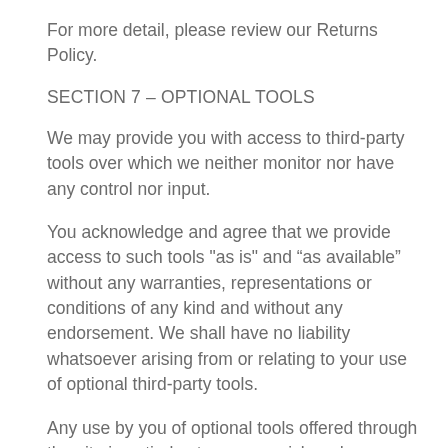For more detail, please review our Returns Policy.
SECTION 7 – OPTIONAL TOOLS
We may provide you with access to third-party tools over which we neither monitor nor have any control nor input.
You acknowledge and agree that we provide access to such tools "as is" and “as available” without any warranties, representations or conditions of any kind and without any endorsement. We shall have no liability whatsoever arising from or relating to your use of optional third-party tools.
Any use by you of optional tools offered through the site is entirely at your own risk and discretion